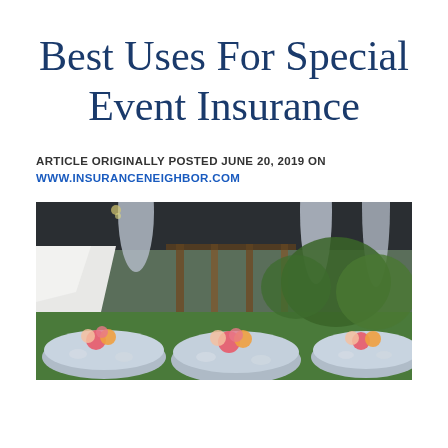Best Uses For Special Event Insurance
ARTICLE ORIGINALLY POSTED JUNE 20, 2019 ON WWW.INSURANCENEIGHBOR.COM
[Figure (photo): Outdoor wedding reception with round tables set with floral centerpieces, gray tablecloths, dinnerware, and glassware. White tent and wooden pergola with draping fabric visible in background, green lawn and trees.]